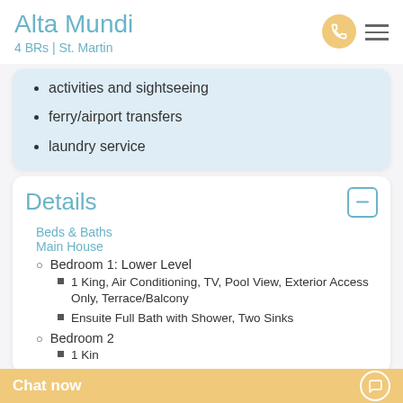Alta Mundi
4 BRs | St. Martin
activities and sightseeing
ferry/airport transfers
laundry service
Details
Beds & Baths
Main House
Bedroom 1: Lower Level
1 King, Air Conditioning, TV, Pool View, Exterior Access Only, Terrace/Balcony
Ensuite Full Bath with Shower, Two Sinks
Bedroom 2
1 Kin...
Chat now